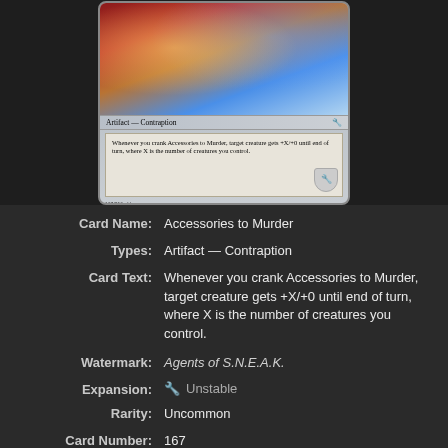[Figure (photo): Magic: The Gathering card 'Accessories to Murder' showing fantasy battle art with creatures fighting. Card type line reads 'Artifact — Contraption'. Card text: 'Whenever you crank Accessories to Murder, target creature gets +X/+0 until end of turn, where X is the number of creatures you control.' Numbered 167/216, Uncommon, UST set, artist Ralph Horsley.]
Card Name: Accessories to Murder
Types: Artifact — Contraption
Card Text: Whenever you crank Accessories to Murder, target creature gets +X/+0 until end of turn, where X is the number of creatures you control.
Watermark: Agents of S.N.E.A.K.
Expansion: Unstable
Rarity: Uncommon
Card Number: 167
Artist: Ralph Horsley